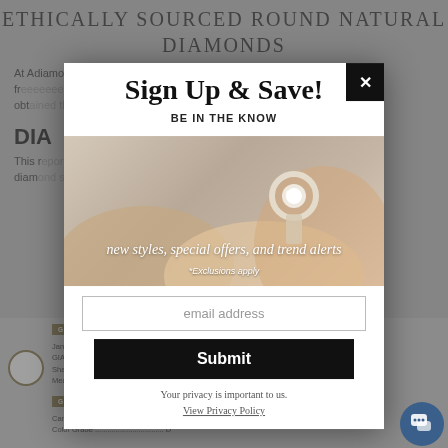ETHICALLY SOURCED ROUND NATURAL DIAMONDS
At Adiamor, we adhere to a strict policy toward conflict free diamonds. The diamonds we offer are obtained ... need
DIA...
This r... al diamond...
[Figure (screenshot): Sign Up & Save modal popup over jewelry website background showing hands with diamond ring. Modal contains headline 'Sign Up & Save!', subheading 'BE IN THE KNOW', italic text 'new styles, special offers, and trend alerts', '*Exclusions apply', email address input field, Submit button, and privacy policy text.]